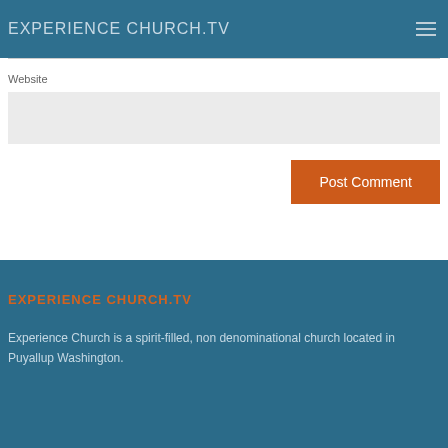EXPERIENCE CHURCH.TV
Website
Post Comment
EXPERIENCE CHURCH.TV
Experience Church is a spirit-filled, non denominational church located in Puyallup Washington.